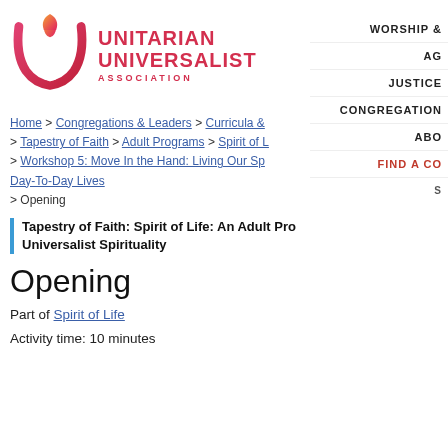[Figure (logo): Unitarian Universalist Association logo with flame icon and text]
WORSHIP &
AG
JUSTICE
CONGREGATION
ABO
FIND A CO
Home > Congregations & Leaders > Curricula & > Tapestry of Faith > Adult Programs > Spirit of L > Workshop 5: Move In the Hand: Living Our Sp Day-To-Day Lives > Opening
Tapestry of Faith: Spirit of Life: An Adult Pro Universalist Spirituality
Opening
Part of Spirit of Life
Activity time: 10 minutes